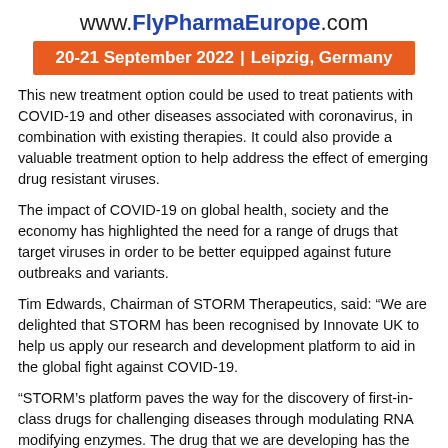www.FlyPharmaEurope.com
20-21 September 2022 | Leipzig, Germany
This new treatment option could be used to treat patients with COVID-19 and other diseases associated with coronavirus, in combination with existing therapies. It could also provide a valuable treatment option to help address the effect of emerging drug resistant viruses.
The impact of COVID-19 on global health, society and the economy has highlighted the need for a range of drugs that target viruses in order to be better equipped against future outbreaks and variants.
Tim Edwards, Chairman of STORM Therapeutics, said: “We are delighted that STORM has been recognised by Innovate UK to help us apply our research and development platform to aid in the global fight against COVID-19.
“STORM’s platform paves the way for the discovery of first-in-class drugs for challenging diseases through modulating RNA modifying enzymes. The drug that we are developing has the